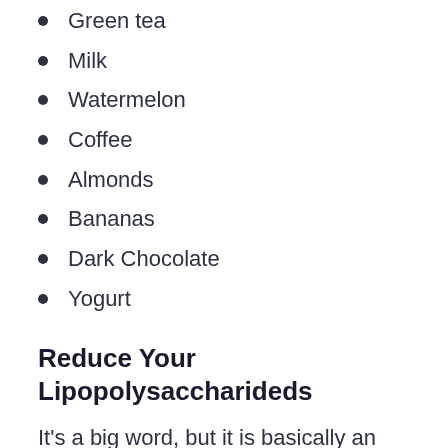Green tea
Milk
Watermelon
Coffee
Almonds
Bananas
Dark Chocolate
Yogurt
Reduce Your Lipopolysaccharideds
It's a big word, but it is basically an endotoxin that causes your immune